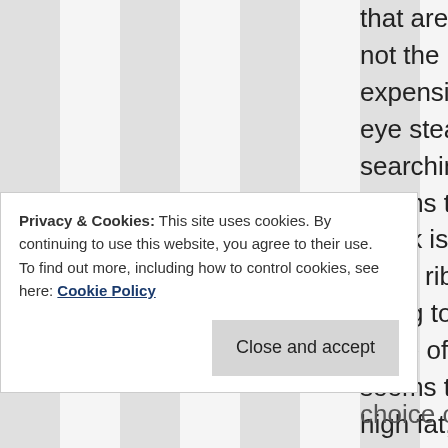that are high in fat but not the really popular, expensive cuts like rib-eye steak. After searching online it seems that any rib steak is high in fat (eg. short ribs) so I will be trying to get some more of that. Tongue seems to be another high fat, inexpensive cut.
Privacy & Cookies: This site uses cookies. By continuing to use this website, you agree to their use. To find out more, including how to control cookies, see here: Cookie Policy
choice or prime